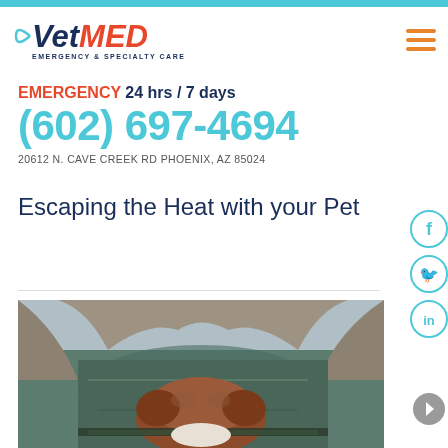[Figure (logo): VetMED Emergency & Specialty Care logo with teal arc, dark blue 'Vet' italic and red 'MED' italic text, tagline 'EMERGENCY & SPECIALTY CARE']
EMERGENCY 24 hrs / 7 days
(602) 697-4694
20612 N. CAVE CREEK RD PHOENIX, AZ 85024
Escaping the Heat with your Pet
[Figure (photo): A brown and white dog resting its chin on the edge of a boat, looking out over a calm green-blue lake with rocky cliffs in the background]